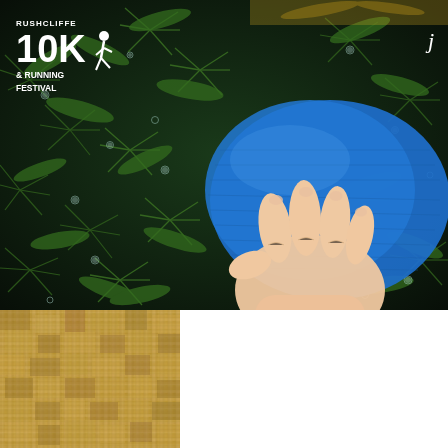[Figure (photo): A hand holding a blue microfiber cloth wiping or cleaning a surface covered with dense green pine/fir branches with dewdrops. The background is dark with green foliage. A logo overlay in the top-left reads 'RUSHCLIFFE 10K & RUNNING FESTIVAL' with a runner icon, and a cursive 'j' in the top-right corner.]
[Figure (photo): Close-up texture shot of a coarse woven burlap or natural fiber fabric in a tan/beige color, showing a rough textile weave pattern.]